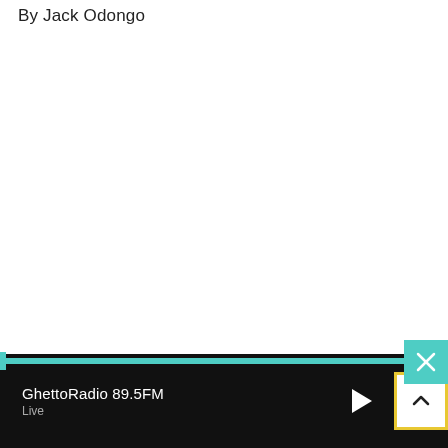By Jack Odongo
GhettoRadio 89.5FM | Live | [player controls]